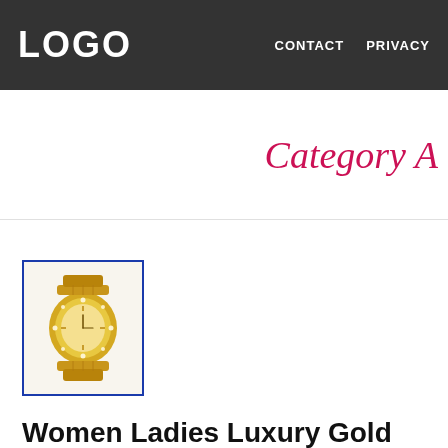LOGO   CONTACT   PRIVACY
Category A
[Figure (photo): Gold plated ladies luxury watch with crystal embellishments, champagne dial, shown with bracelet band, displayed in a product listing thumbnail with blue border.]
Women Ladies Luxury Gold Plated Cry… Champagne Dial Bracelet Watch